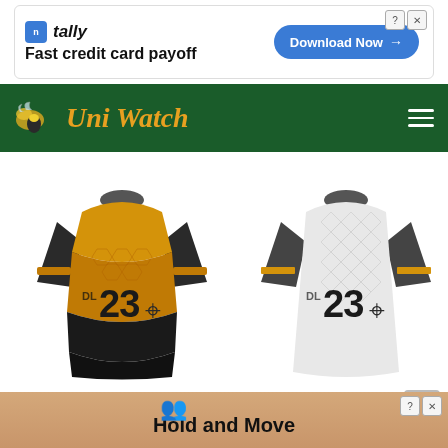[Figure (screenshot): Top advertisement banner for Tally app: 'Fast credit card payoff' with 'Download Now' button and close/help icons]
[Figure (logo): Uni Watch website logo on dark green header bar with hamburger menu icon]
[Figure (photo): Two soccer/sports jerseys side by side: left jersey is gold/black with number 23 and spider logo, right jersey is white/gray with diamond pattern, number 23 and spider logo]
Home
There a…’s not
[Figure (screenshot): Bottom advertisement banner with 'Hold and Move' text and people icons on a wood-textured background]